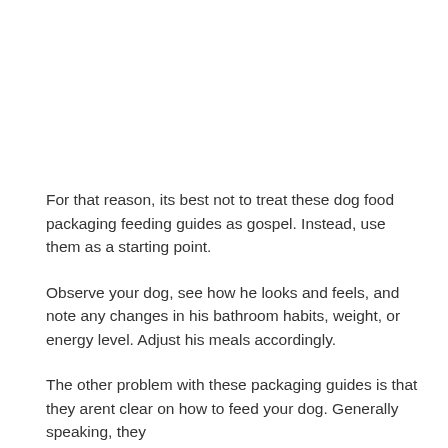For that reason, its best not to treat these dog food packaging feeding guides as gospel. Instead, use them as a starting point.
Observe your dog, see how he looks and feels, and note any changes in his bathroom habits, weight, or energy level. Adjust his meals accordingly.
The other problem with these packaging guides is that they arent clear on how to feed your dog. Generally speaking, they